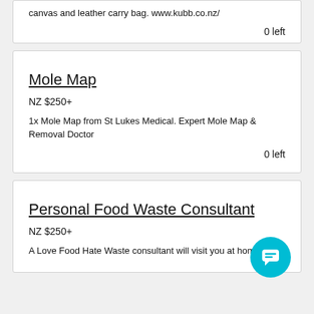canvas and leather carry bag. www.kubb.co.nz/
0 left
Mole Map
NZ $250+
1x Mole Map from St Lukes Medical. Expert Mole Map & Removal Doctor
0 left
Personal Food Waste Consultant
NZ $250+
A Love Food Hate Waste consultant will visit you at home